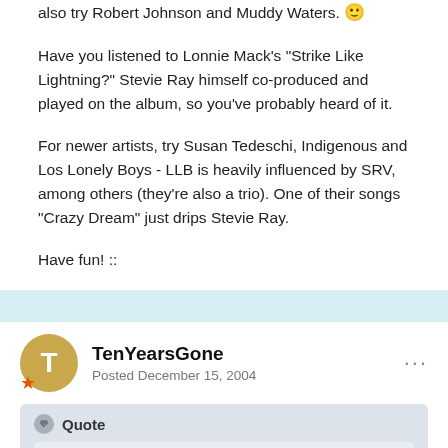also try Robert Johnson and Muddy Waters. 🙂
Have you listened to Lonnie Mack's "Strike Like Lightning?" Stevie Ray himself co-produced and played on the album, so you've probably heard of it.
For newer artists, try Susan Tedeschi, Indigenous and Los Lonely Boys - LLB is heavily influenced by SRV, among others (they're also a trio). One of their songs "Crazy Dream" just drips Stevie Ray.
Have fun! ::
TenYearsGone
Posted December 15, 2004
Quote
There you go... you got it. Stevie plays the blues well. He wasn't strictly a blues artist in the real sense of the word.